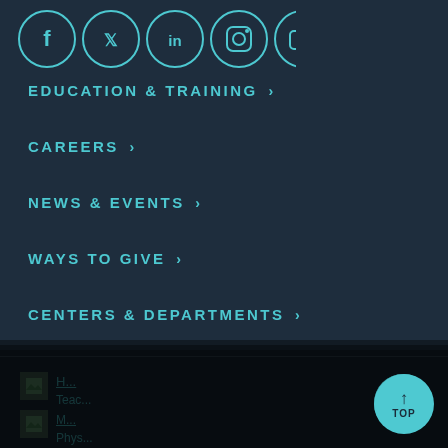[Figure (illustration): Row of 5 social media icon circles (Facebook, Twitter, LinkedIn, Instagram, YouTube) in teal outline on dark navy background]
EDUCATION & TRAINING ›
CAREERS ›
NEWS & EVENTS ›
WAYS TO GIVE ›
CENTERS & DEPARTMENTS ›
We use cookies and other tools to enhance your experience on our website and to analyze our web traffic. For more information about these cookies and the data collected, please refer to our Privacy Policy.